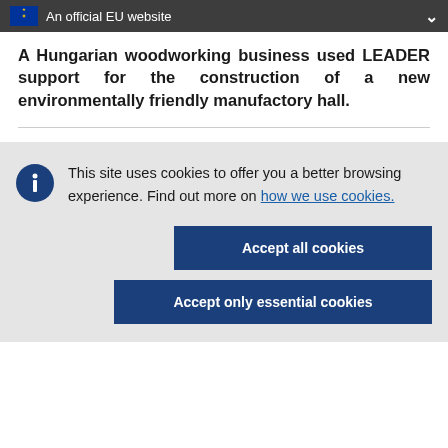An official EU website
A Hungarian woodworking business used LEADER support for the construction of a new environmentally friendly manufactory hall.
This site uses cookies to offer you a better browsing experience. Find out more on how we use cookies.
Accept all cookies
Accept only essential cookies